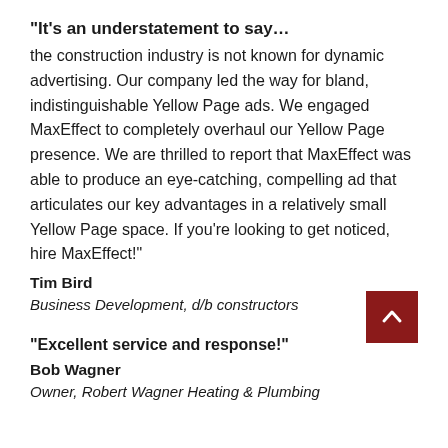“It’s an understatement to say… the construction industry is not known for dynamic advertising. Our company led the way for bland, indistinguishable Yellow Page ads. We engaged MaxEffect to completely overhaul our Yellow Page presence. We are thrilled to report that MaxEffect was able to produce an eye-catching, compelling ad that articulates our key advantages in a relatively small Yellow Page space. If you’re looking to get noticed, hire MaxEffect!”
Tim Bird
Business Development, d/b constructors
“Excellent service and response!”
Bob Wagner
Owner, Robert Wagner Heating & Plumbing